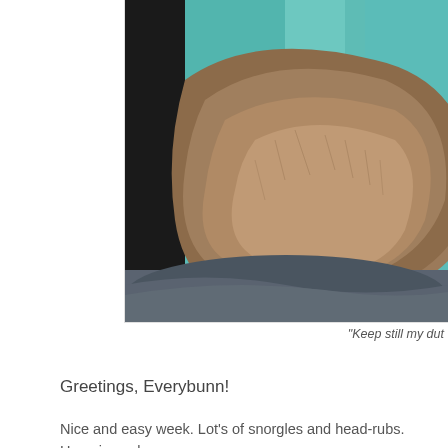[Figure (photo): Close-up photo of a brown/tan rabbit or furry animal resting on a dark gray blanket with a teal/turquoise background, showing thick soft fur in detail.]
"Keep still my dut
Greetings, Everybunn!
Nice and easy week. Lot's of snorgles and head-rubs. Hoomin worke He said he won't do that ever again. He missed me too much. Today the same to me, but as long as the head-rubs keep coming, I don't